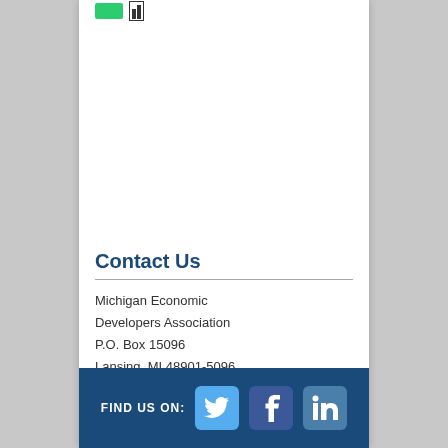[Figure (logo): Green rectangle logo and bar chart icon at top]
Contact Us
Michigan Economic
Developers Association
P.O. Box 15096
Lansing, MI 48901-5096
PH: 517-241-0011
cjorae@medaweb.org
[Figure (illustration): Footer bar with FIND US ON: text and Twitter, Facebook, LinkedIn social media icons]